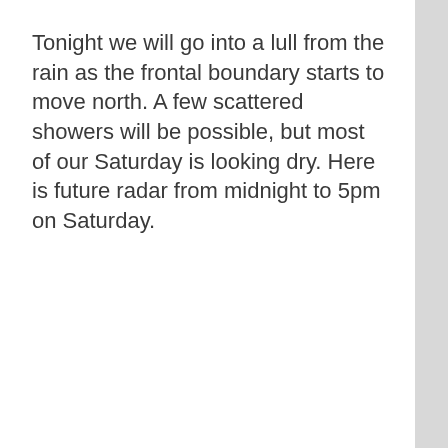Tonight we will go into a lull from the rain as the frontal boundary starts to move north. A few scattered showers will be possible, but most of our Saturday is looking dry. Here is future radar from midnight to 5pm on Saturday.